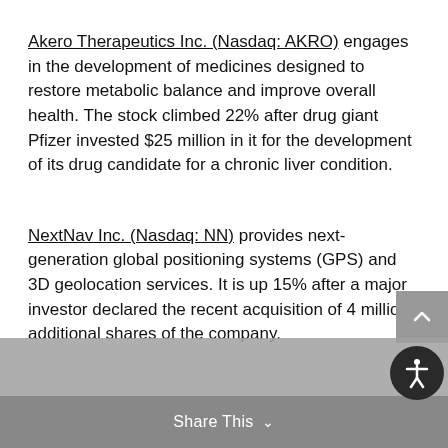Akero Therapeutics Inc. (Nasdaq: AKRO) engages in the development of medicines designed to restore metabolic balance and improve overall health. The stock climbed 22% after drug giant Pfizer invested $25 million in it for the development of its drug candidate for a chronic liver condition.
NextNav Inc. (Nasdaq: NN) provides next-generation global positioning systems (GPS) and 3D geolocation services. It is up 15% after a major investor declared the recent acquisition of 4 million additional shares of the company.
Share This